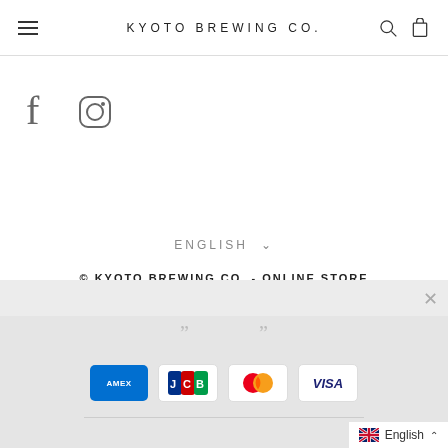KYOTO BREWING CO.
[Figure (logo): Facebook and Instagram social media icons]
ENGLISH ∨
© KYOTO BREWING CO. - ONLINE STORE
Powered by Shopify
[Figure (other): Payment method icons: American Express, JCB, Mastercard, Visa on gray background panel, with close button and quotation marks]
English